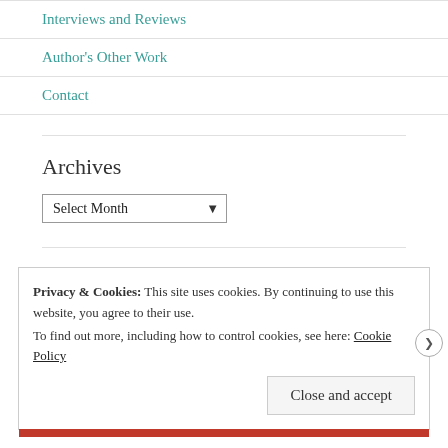Interviews and Reviews
Author's Other Work
Contact
Archives
Select Month (dropdown)
Privacy & Cookies: This site uses cookies. By continuing to use this website, you agree to their use. To find out more, including how to control cookies, see here: Cookie Policy
Close and accept